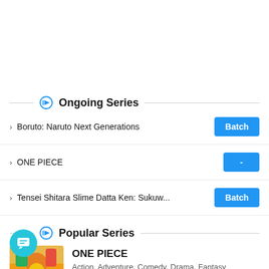Ongoing Series
Boruto: Naruto Next Generations
ONE PIECE
Tensei Shitara Slime Datta Ken: Sukuw...
Popular Series
[Figure (illustration): Thumbnail image for ONE PIECE anime series]
ONE PIECE
Action, Adventure, Comedy, Drama, Fantasy
86% | Fall 1999